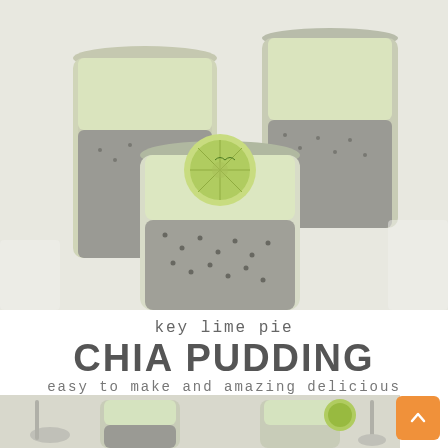[Figure (photo): Food photograph of key lime pie chia pudding served in glass jars, showing layered chia pudding topped with creamy white layer and a lime slice garnish. Two jars visible with lime wedges on white marble surface.]
key lime pie
CHIA PUDDING
easy to make and amazing delicious
[Figure (photo): Partial food photograph at bottom showing chia pudding jars with spoons and lime garnish.]